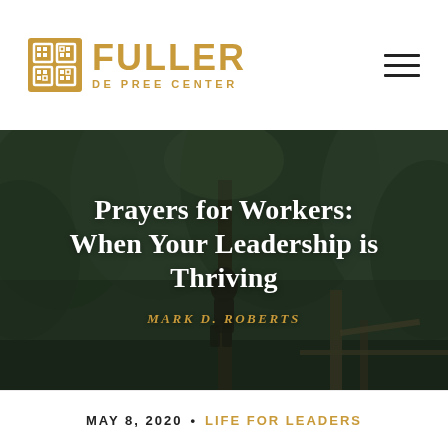Fuller De Pree Center
[Figure (photo): Dark moody forest scene with a person standing on a wooden bridge or log structure, surrounded by dense green-grey foliage. Text overlay on image.]
Prayers for Workers: When Your Leadership is Thriving
MARK D. ROBERTS
MAY 8, 2020 • LIFE FOR LEADERS